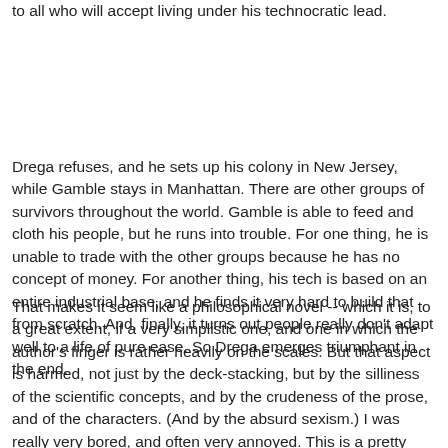to all who will accept living under his technocratic lead.
Drega refuses, and he sets up his colony in New Jersey, while Gamble stays in Manhattan. There are other groups of survivors throughout the world. Gamble is able to feed and cloth his people, but he runs into trouble. For one thing, he is unable to trade with the other groups because he has no concept of money. For another thing, his tech is based on an entire industrial base, and he finds it very hard to build that from scratch. And, finally, it turns out people really don't adapt well to a life of pure ease. So Drega emerges triumphant in the end.
That makes it seem like a philosophical novel -- which it is, to a great extent, if a very simplistic one, and one in which the author's finger is rather heavily on the scales. But that aspect is harmed, not just by the deck-stacking, but by the silliness of the scientific concepts, and by the crudeness of the prose, and of the characters. (And by the absurd sexism.) I was really very bored, and often very annoyed. This is a pretty awful novel.